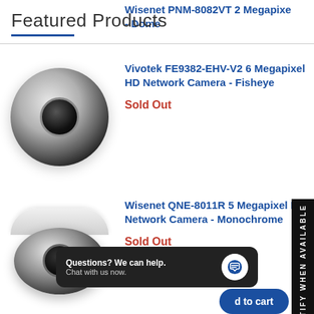Featured Products
[Figure (photo): Fisheye dome security camera - Vivotek FE9382-EHV-V2]
Vivotek FE9382-EHV-V2 6 Megapixel HD Network Camera - Fisheye
Sold Out
[Figure (photo): Turret/monochrome security camera - Wisenet QNE-8011R]
Wisenet QNE-8011R 5 Megapixel HD Network Camera - Monochrome
Sold Out
Wisenet PNM-8082VT 2 Megapixel - Dome